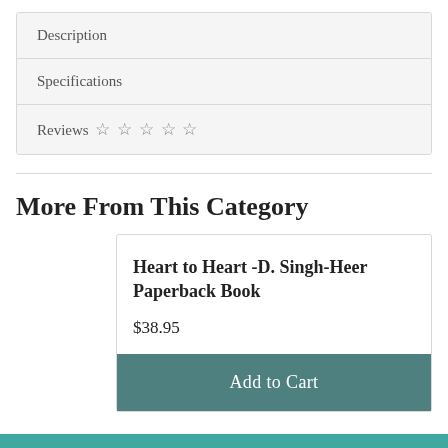Description
Specifications
Reviews ☆ ☆ ☆ ☆ ☆
More From This Category
Heart to Heart -D. Singh-Heer Paperback Book
$38.95
Add to Cart